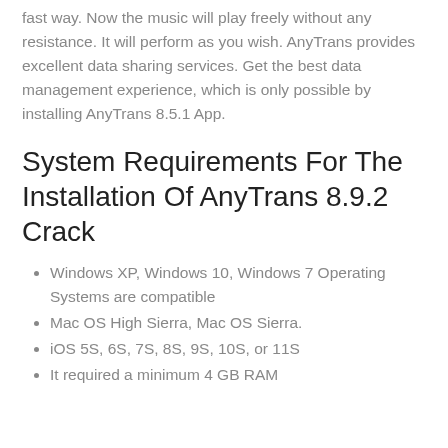fast way. Now the music will play freely without any resistance. It will perform as you wish. AnyTrans provides excellent data sharing services. Get the best data management experience, which is only possible by installing AnyTrans 8.5.1 App.
System Requirements For The Installation Of AnyTrans 8.9.2 Crack
Windows XP, Windows 10, Windows 7 Operating Systems are compatible
Mac OS High Sierra, Mac OS Sierra.
iOS 5S, 6S, 7S, 8S, 9S, 10S, or 11S
It required a minimum 4 GB RAM